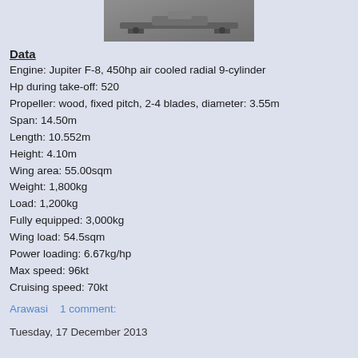[Figure (photo): Black and white photograph of an aircraft on the ground, partially visible at the top of the page.]
Data
Engine: Jupiter F-8, 450hp air cooled radial 9-cylinder
Hp during take-off: 520
Propeller: wood, fixed pitch, 2-4 blades, diameter: 3.55m
Span: 14.50m
Length: 10.552m
Height: 4.10m
Wing area: 55.00sqm
Weight: 1,800kg
Load: 1,200kg
Fully equipped: 3,000kg
Wing load: 54.5sqm
Power loading: 6.67kg/hp
Max speed: 96kt
Cruising speed: 70kt
Arawasi    1 comment:
Tuesday, 17 December 2013